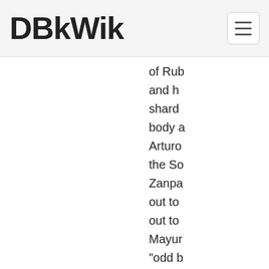DBkWik
of Rub and h shard body a Arturo the So Zanpa out to out to Mayur "odd h greath defea study, Kurots Later, know found Arturo on ha